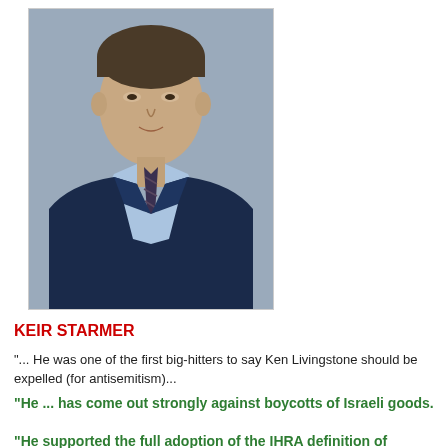[Figure (photo): Official portrait photograph of Keir Starmer, a middle-aged man in a dark navy suit with a striped tie and light blue shirt, against a grey background.]
KEIR STARMER
"... He was one of the first big-hitters to say Ken Livingstone should be expelled (for antisemitism)...
"He ... has come out strongly against boycotts of Israeli goods.
"He supported the full adoption of the IHRA definition of